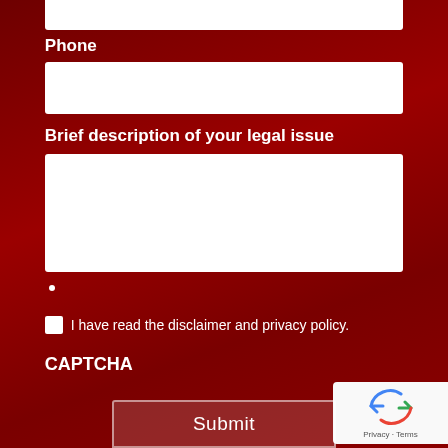Phone
[Figure (other): White input field for phone number]
Brief description of your legal issue
[Figure (other): White textarea for legal issue description]
I have read the disclaimer and privacy policy.
CAPTCHA
[Figure (other): reCAPTCHA widget with recycle arrow icon and Privacy - Terms text]
Submit